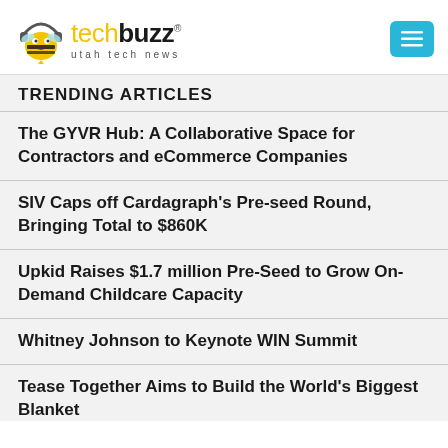[Figure (logo): TechBuzz Utah Tech News logo with bee mascot wearing headphones]
TRENDING ARTICLES
The GYVR Hub: A Collaborative Space for Contractors and eCommerce Companies
SIV Caps off Cardagraph's Pre-seed Round, Bringing Total to $860K
Upkid Raises $1.7 million Pre-Seed to Grow On-Demand Childcare Capacity
Whitney Johnson to Keynote WIN Summit
Tease Together Aims to Build the World's Biggest Blanket